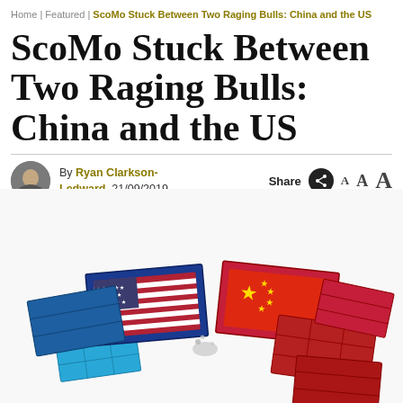Home | Featured | ScoMo Stuck Between Two Raging Bulls: China and the US
ScoMo Stuck Between Two Raging Bulls: China and the US
By Ryan Clarkson-Ledward, 21/09/2019  Share  A  A  A
[Figure (illustration): Two stacks of shipping containers clashing — left stack decorated with the US flag (blue with red and white stripes), right stack decorated with the Chinese flag (red with yellow stars), representing the US-China trade war.]